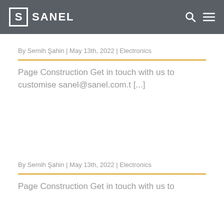SANEL
By Semih Şahin | May 13th, 2022 | Electronics
Page Construction Get in touch with us to customise sanel@sanel.com.t [...]
By Semih Şahin | May 13th, 2022 | Electronics
Page Construction Get in touch with us to